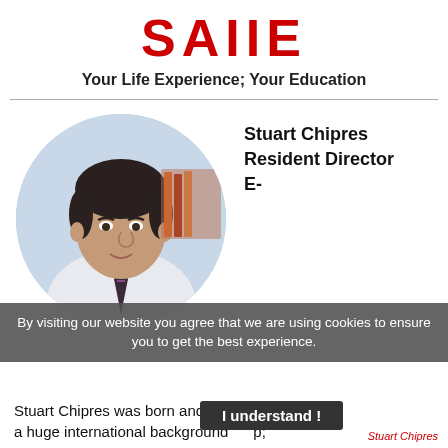SAIIE
Your Life Experience; Your Education
[Figure (photo): Circular headshot photo of Stuart Chipres, a man in a white dress shirt and dark tie, seated in an office with bookshelves in the background.]
Stuart Chipres
Resident Director
E-
By visiting our website you agree that we are using cookies to ensure you to get the best experience.
Stuart Chipres was born and raise      pain) with a huge international background      p;